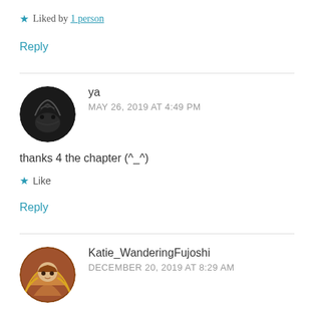★ Liked by 1 person
Reply
ya
MAY 26, 2019 AT 4:49 PM
thanks 4 the chapter (^_^)
★ Like
Reply
Katie_WanderingFujoshi
DECEMBER 20, 2019 AT 8:29 AM